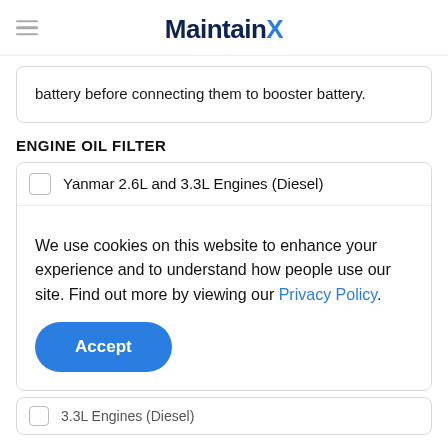MaintainX
battery before connecting them to booster battery.
ENGINE OIL FILTER
Yanmar 2.6L and 3.3L Engines (Diesel)
We use cookies on this website to enhance your experience and to understand how people use our site. Find out more by viewing our Privacy Policy.
Accept
3.3L Engines (Diesel)